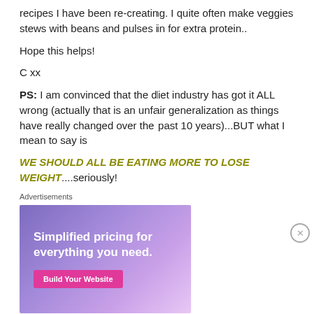recipes I have been re-creating. I quite often make veggies stews with beans and pulses in for extra protein..
Hope this helps!
C xx
PS: I am convinced that the diet industry has got it ALL wrong (actually that is an unfair generalization as things have really changed over the past 10 years)...BUT what I mean to say is
WE SHOULD ALL BE EATING MORE TO LOSE WEIGHT....seriously!
Advertisements
[Figure (illustration): Advertisement banner: 'Simplified pricing for everything you need.' with a 'Build Your Website' button on a purple/lavender gradient background with a price tag graphic.]
Advertisements
[Figure (illustration): Advertisement banner for Macy's: 'KISS BORING LIPS GOODBYE' with a 'SHOP NOW' button and Macy's star logo on a red background.]